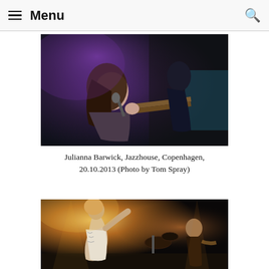Menu
[Figure (photo): Concert photo: female singer with long dark hair leaning into a microphone, playing guitar under purple/blue stage lighting, dark moody atmosphere]
Julianna Barwick, Jazzhouse, Copenhagen, 20.10.2013 (Photo by Tom Spray)
[Figure (photo): Concert photo: performer on stage under warm golden/amber lighting, band visible in background with drums, dark venue atmosphere]